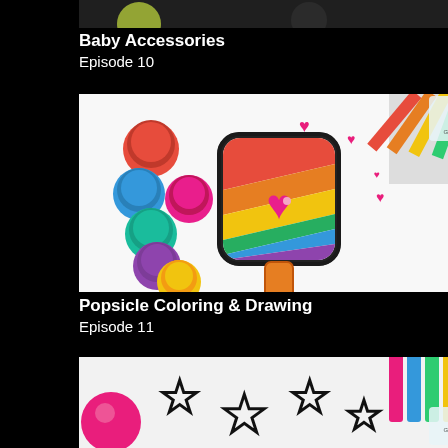[Figure (photo): Top portion of a Baby Accessories episode thumbnail, partially visible at top of page]
Baby Accessories
Episode 10
[Figure (photo): Popsicle Coloring & Drawing thumbnail showing a colorful rainbow popsicle drawing with a pink heart, surrounded by paint pots and crayons on a white background]
Popsicle Coloring & Drawing
Episode 11
[Figure (photo): Partially visible thumbnail at bottom of page showing star outlines and colorful crayons on white background]